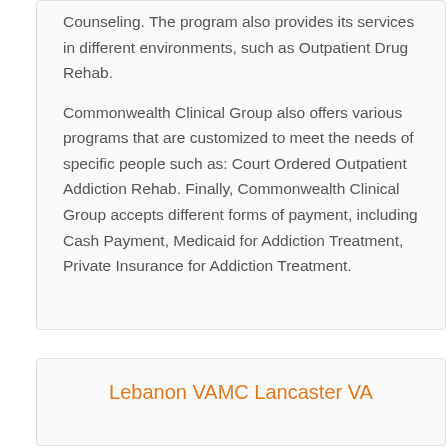Counseling. The program also provides its services in different environments, such as Outpatient Drug Rehab.
Commonwealth Clinical Group also offers various programs that are customized to meet the needs of specific people such as: Court Ordered Outpatient Addiction Rehab. Finally, Commonwealth Clinical Group accepts different forms of payment, including Cash Payment, Medicaid for Addiction Treatment, Private Insurance for Addiction Treatment.
Lebanon VAMC Lancaster VA